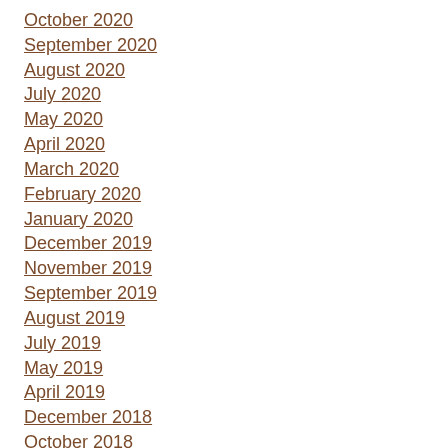October 2020
September 2020
August 2020
July 2020
May 2020
April 2020
March 2020
February 2020
January 2020
December 2019
November 2019
September 2019
August 2019
July 2019
May 2019
April 2019
December 2018
October 2018
September 2018